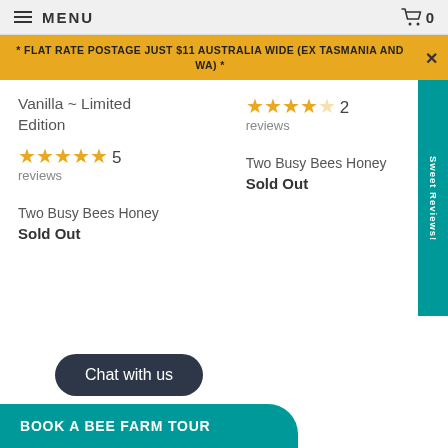MENU   🛒 0
* FLAT RATE POSTAGE JUST $11 AUSTRALIA WIDE (EX TASMANIA AND WA) *
Vanilla ~ Limited Edition
★★★★★ 5 reviews
Two Busy Bees Honey
Sold Out
★★★★☆ 2 reviews
Two Busy Bees Honey
Sold Out
Sweet Reviews!
Chat with us
BOOK A BEE FARM TOUR